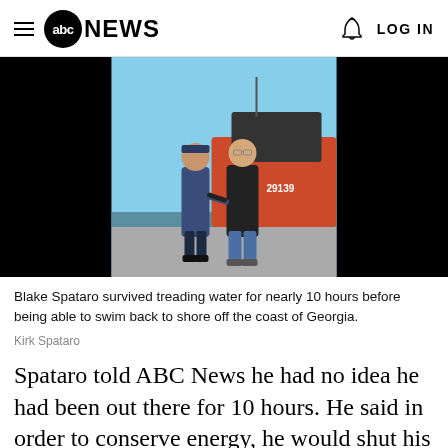abc NEWS  LOG IN
[Figure (photo): Two men shaking hands in front of a Coast Guard boat numbered 29139, docked at a pier on a sunny day. One man is in a blue uniform, the other in a black t-shirt and jeans.]
Blake Spataro survived treading water for nearly 10 hours before being able to swim back to shore off the coast of Georgia.
Kirk Spataro
Spataro told ABC News he had no idea he had been out there for 10 hours. He said in order to conserve energy, he would shut his eyes and